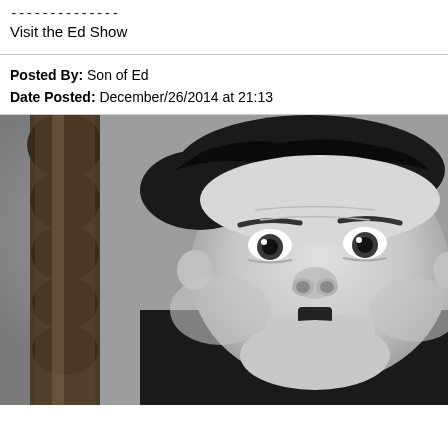--------------
Visit the Ed Show
Posted By: Son of Ed
Date Posted: December/26/2014 at 21:13
[Figure (photo): Black and white photograph of a heavyset man with dark hair, a small mustache, and wide expressive eyes, seated near a wooden bedpost, wearing dark clothing.]